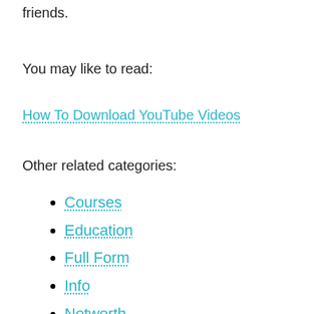friends.
You may like to read:
How To Download YouTube Videos
Other related categories:
Courses
Education
Full Form
Info
Networth
Quotes
Scholarships